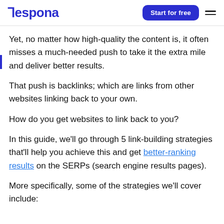Respona | Start for free
Yet, no matter how high-quality the content is, it often misses a much-needed push to take it the extra mile and deliver better results.
That push is backlinks; which are links from other websites linking back to your own.
How do you get websites to link back to you?
In this guide, we'll go through 5 link-building strategies that'll help you achieve this and get better-ranking results on the SERPs (search engine results pages).
More specifically, some of the strategies we'll cover include: